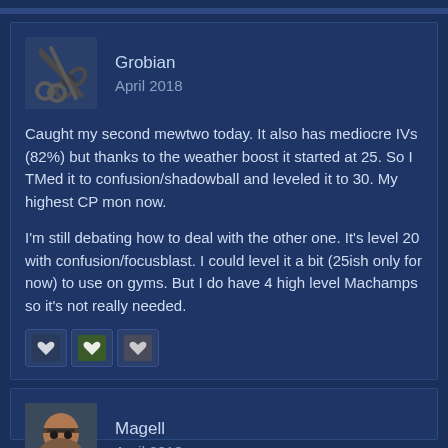Grobian
April 2018

Caught my second mewtwo today. It also has mediocre IVs (82%) but thanks to the weather boost it started at 25. So I TMed it to confusion/shadowball and leveled it to 30. My highest CP mon now.

I'm still debating how to deal with the other one. It's level 20 with confusion/focusblast. I could level it a bit (25ish only for now) to use on gyms. But I do have 4 high level Machamps so it's not really needed.
Magell
April 2018

I got an ex raid pass for next monday. Im thinking of getting somebody to cover the last couple of hours of my shift to go